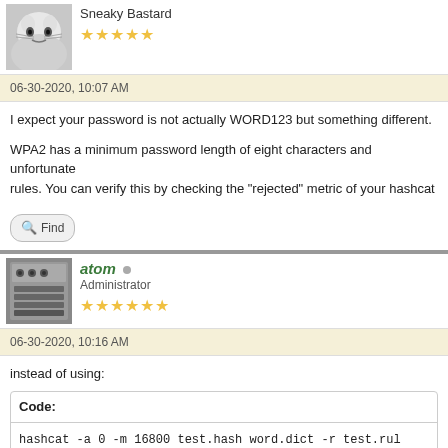Sneaky Bastard
06-30-2020, 10:07 AM
I expect your password is not actually WORD123 but something different.
WPA2 has a minimum password length of eight characters and unfortunately rules. You can verify this by checking the "rejected" metric of your hashcat
Find
atom
Administrator
06-30-2020, 10:16 AM
instead of using:
Code:
hashcat -a 0 -m 16800 test.hash word.dict -r test.rul
you can also use: